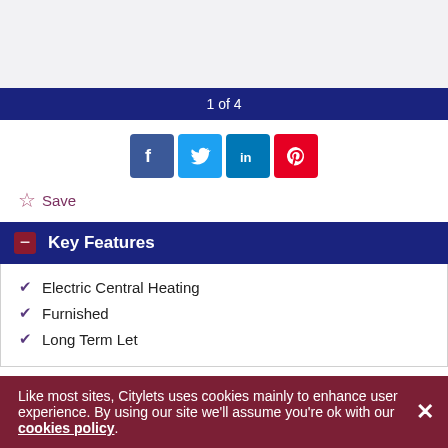[Figure (photo): Gray placeholder image area for property photo]
1 of 4
[Figure (infographic): Social media share icons: Facebook, Twitter, LinkedIn, Pinterest]
Save
Key Features
Electric Central Heating
Furnished
Long Term Let
Like most sites, Citylets uses cookies mainly to enhance user experience. By using our site we'll assume you're ok with our cookies policy.